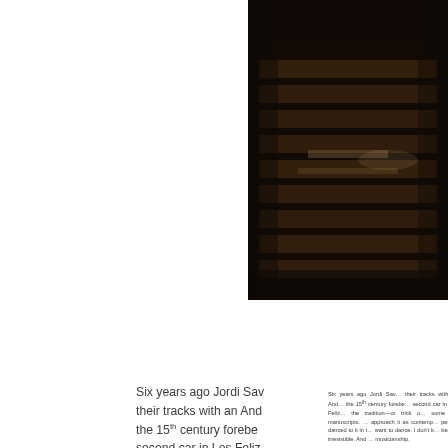[Figure (photo): Dark interior photograph showing what appears to be wooden furniture or church pews in dim lighting, cropped at the top-right corner of the page]
Six years ago Jordi Sav… their tracks with an And… the 15th century forebe… second car in Los Feliz… the tradition—or trick o… some old manuscripts. … approach it as contemp… people danced to it in t… want to dance. I don't k… beat is irresistible. And … musicianship.